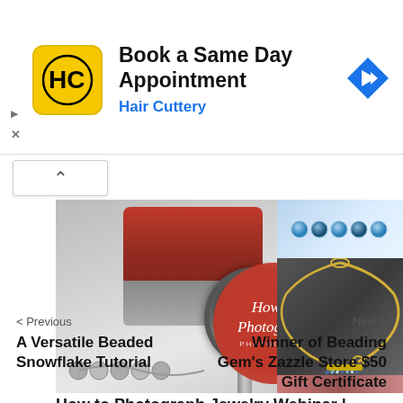[Figure (screenshot): Hair Cuttery advertisement banner: Book a Same Day Appointment with Hair Cuttery logo and navigation arrow icon]
[Figure (photo): Jewelry photography webinar promotional image showing a camera on tripod photographing jewelry, with a red circle 'How to Photograph' overlay, and a side panel showing blue beads and gold chain tassel jewelry]
How to Photograph Jewelry Webinar | This Sunday August 27
< Previous
Next >
A Versatile Beaded Snowflake Tutorial
Winner of Beading Gem's Zazzle Store $50 Gift Certificate